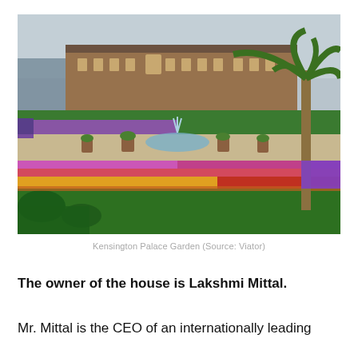[Figure (photo): Photo of Kensington Palace Garden showing a formal garden with colorful flower beds including pink, purple, yellow and red tulips and other flowers, green lawns, a central fountain, palm tree on the right, and the red-brick Kensington Palace building in the background under an overcast sky.]
Kensington Palace Garden (Source: Viator)
The owner of the house is Lakshmi Mittal.
Mr. Mittal is the CEO of an internationally leading